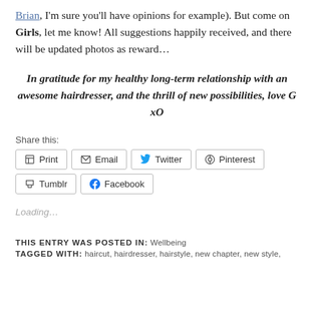Brian, I'm sure you'll have opinions for example). But come on Girls, let me know! All suggestions happily received, and there will be updated photos as reward...
In gratitude for my healthy long-term relationship with an awesome hairdresser, and the thrill of new possibilities, love G xO
Share this:
Print | Email | Twitter | Pinterest | Tumblr | Facebook
Loading...
THIS ENTRY WAS POSTED IN: Wellbeing
TAGGED WITH: haircut, hairdresser, hairstyle, new chapter, new style,